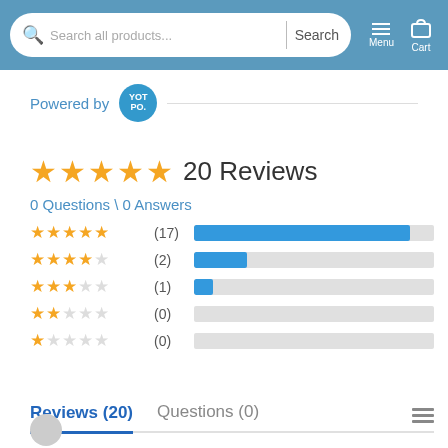[Figure (screenshot): E-commerce website header with search bar, Menu and Cart icons on blue background]
Powered by YOTPO.
20 Reviews
0 Questions \ 0 Answers
[Figure (bar-chart): Star rating distribution]
Reviews (20)   Questions (0)